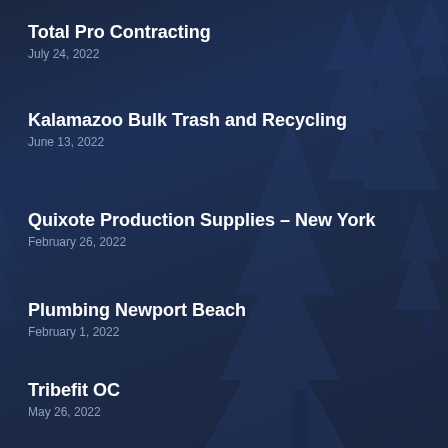Total Pro Contracting
July 24, 2022
Kalamazoo Bulk Trash and Recycling
June 13, 2022
Quixote Production Supplies – New York
February 26, 2022
Plumbing Newport Beach
February 1, 2022
Tribefit OC
May 26, 2022